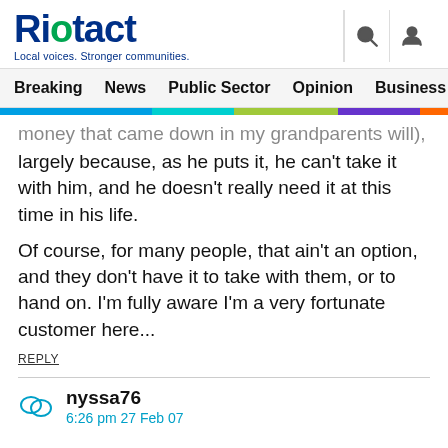Riotact — Local voices. Stronger communities.
Breaking  News  Public Sector  Opinion  Business
money that came down in my grandparents will), largely because, as he puts it, he can't take it with him, and he doesn't really need it at this time in his life.
Of course, for many people, that ain't an option, and they don't have it to take with them, or to hand on. I'm fully aware I'm a very fortunate customer here...
REPLY
nyssa76
6:26 pm 27 Feb 07